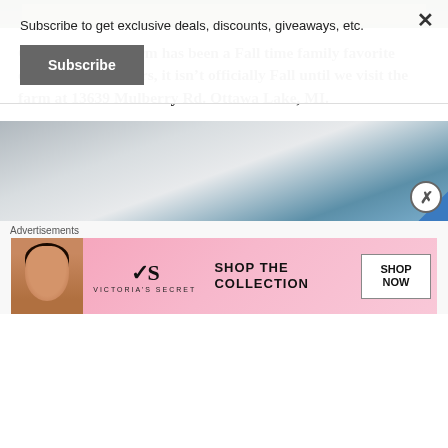Subscribe to get exclusive deals, discounts, giveaways, etc.
Subscribe
[Figure (photo): Dark green outdoor farm image at top of page]
Gust Brother’s Farm has been a Fall time family favorite destination for years, it isn’t officially Fall until we visit the farm at 13639 Mulberry Rd. Ottawa Lake, MI.
[Figure (photo): Sky/outdoor photo with grey clouds and blue accent in corner]
Advertisements
[Figure (photo): Victoria's Secret advertisement banner with model, VS logo, SHOP THE COLLECTION text, and SHOP NOW button]